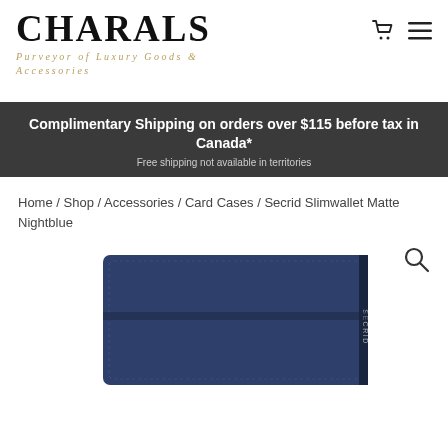CHARALS
Purveyor of Luxury Goods & Accessories
Complimentary Shipping on orders over $115 before tax in Canada*
Free shipping not available in territories
Home / Shop / Accessories / Card Cases / Secrid Slimwallet Matte Nightblue
[Figure (photo): Secrid Slimwallet Matte Nightblue product photo showing a dark navy blue wallet against white background]